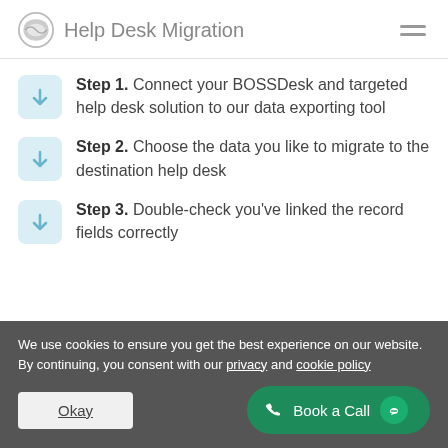Help Desk Migration
Step 1. Connect your BOSSDesk and targeted help desk solution to our data exporting tool
Step 2. Choose the data you like to migrate to the destination help desk
Step 3. Double-check you've linked the record fields correctly
We use cookies to ensure you get the best experience on our website. By continuing, you consent with our privacy and cookie policy
Okay | Book a Call